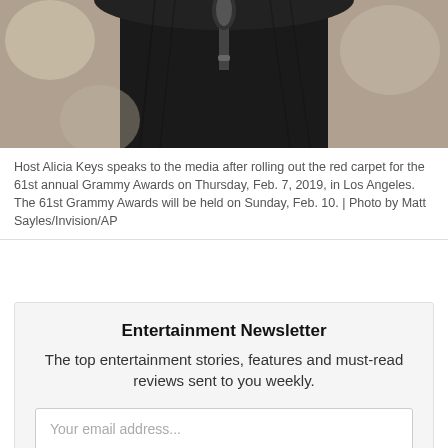[Figure (photo): Person in dark clothing standing at a microphone, cropped view from chest up, blurred background]
Host Alicia Keys speaks to the media after rolling out the red carpet for the 61st annual Grammy Awards on Thursday, Feb. 7, 2019, in Los Angeles. The 61st Grammy Awards will be held on Sunday, Feb. 10. | Photo by Matt Sayles/Invision/AP
Entertainment Newsletter
The top entertainment stories, features and must-read reviews sent to you weekly.
Your email address...
SIGN UP